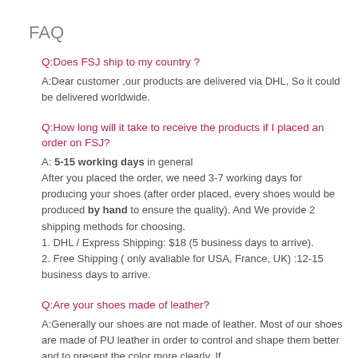FAQ
Q:Does FSJ ship to my country ?
A:Dear customer ,our products are delivered via DHL, So it could be delivered worldwide.
Q:How long will it take to receive the products if I placed an order on FSJ?
A: 5-15 working days in general
After you placed the order, we need 3-7 working days for producing your shoes (after order placed, every shoes would be produced by hand to ensure the quality). And We provide 2 shipping methods for choosing.
1. DHL / Express Shipping: $18 (5 business days to arrive).
2. Free Shipping ( only avaliable for USA, France, UK) :12-15 business days to arrive.
Q:Are your shoes made of leather?
A:Generally our shoes are not made of leather. Most of our shoes are made of PU leather in order to control and shape them better and to present the color more clearly. If